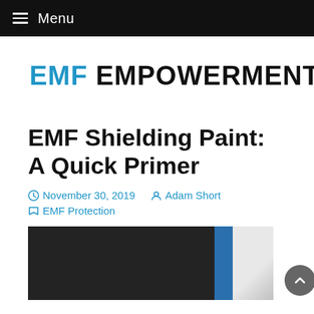≡ Menu
[Figure (logo): EMF Empowerment logo: blue shield with gold sword icon, followed by 'EMF' in blue and 'EMPOWERMENT' in black bold text]
EMF Shielding Paint: A Quick Primer
November 30, 2019  Adam Short  EMF Protection
[Figure (photo): Dark background with blue vertical stripe and white painted area on the right, suggesting EMF shielding paint application on a wall]